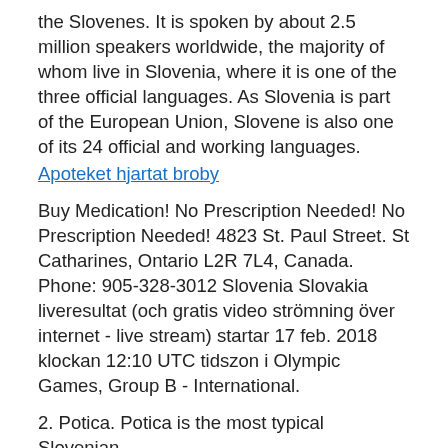the Slovenes. It is spoken by about 2.5 million speakers worldwide, the majority of whom live in Slovenia, where it is one of the three official languages. As Slovenia is part of the European Union, Slovene is also one of its 24 official and working languages.
Apoteket hjartat broby
Buy Medication! No Prescription Needed! No Prescription Needed! 4823 St. Paul Street. St Catharines, Ontario L2R 7L4, Canada. Phone: 905-328-3012 Slovenia Slovakia liveresultat (och gratis video strömning över internet - live stream) startar 17 feb. 2018 klockan 12:10 UTC tidszon i Olympic Games, Group B - International.
2. Potica. Potica is the most typical Slovenian